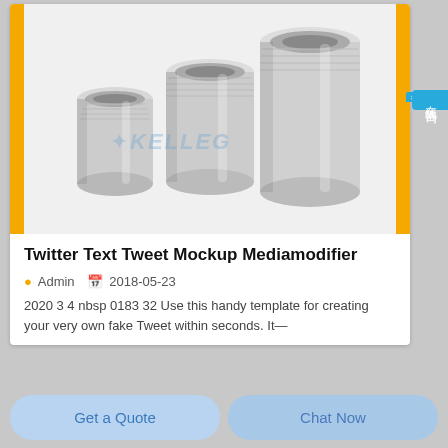[Figure (photo): Three silver/metallic threaded cylindrical nuts or couplings of increasing height, displayed against white background with yellow/orange vertical border strips on left and right. KELLEG watermark text visible.]
Twitter Text Tweet Mockup Mediamodifier
Admin   2018-05-23
2020 3 4 nbsp 0183 32 Use this handy template for creating your very own fake Tweet within seconds. It—
Get a Quote
Chat Now